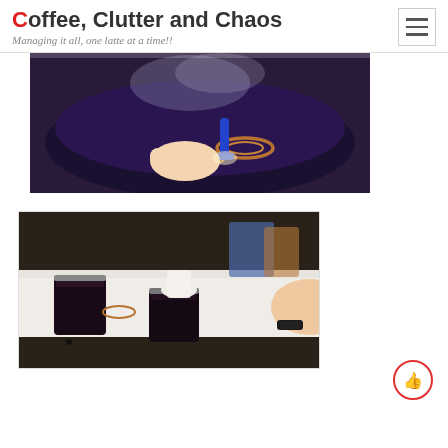Coffee, Clutter and Chaos — Managing it all, one latte at a time!!
[Figure (photo): Person holding a blue object over a dark pot of boiling water on a stove, with steam rising and copper/metallic rings visible in the water.]
[Figure (photo): Hands using a cloth to place lids on dark glass canning jars filled with what appears to be jam or preserves, on a white towel on a counter.]